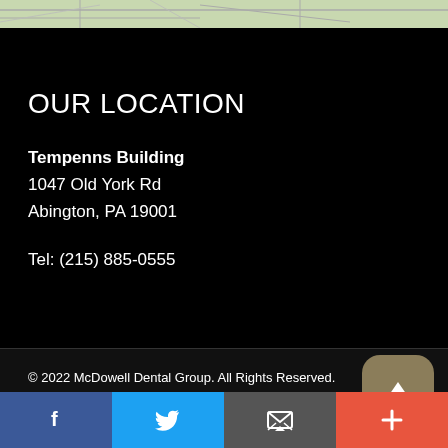[Figure (map): Partial map background strip at top of page]
OUR LOCATION
Tempenns Building
1047 Old York Rd
Abington, PA 19001
Tel: (215) 885-0555
© 2022 McDowell Dental Group. All Rights Reserved.
Dental Marketing by MyAdvice
Terms of Use | Site Map